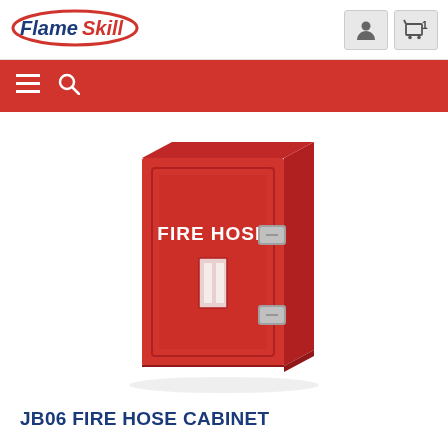FlameSkill — navigation header with logo and cart icon showing 1 item
[Figure (illustration): Red fire hose cabinet (JB06) with white text FIRE HOSE on the door, metal latches on right side, and a viewing window in the center of the door]
JB06 FIRE HOSE CABINET